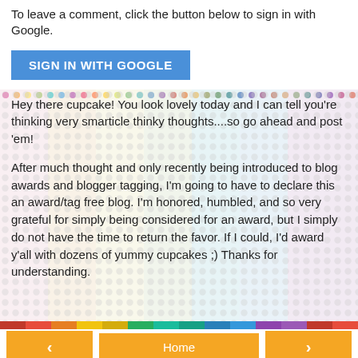To leave a comment, click the button below to sign in with Google.
[Figure (other): Blue 'SIGN IN WITH GOOGLE' button]
Hey there cupcake! You look lovely today and I can tell you're thinking very smarticle thinky thoughts....so go ahead and post 'em!
After much thought and only recently being introduced to blog awards and blogger tagging, I'm going to have to declare this an award/tag free blog. I'm honored, humbled, and so very grateful for simply being considered for an award, but I simply do not have the time to return the favor. If I could, I'd award y'all with dozens of yummy cupcakes ;) Thanks for understanding.
[Figure (infographic): Rainbow colored dots background pattern with navigation bar containing left arrow, Home, and right arrow buttons]